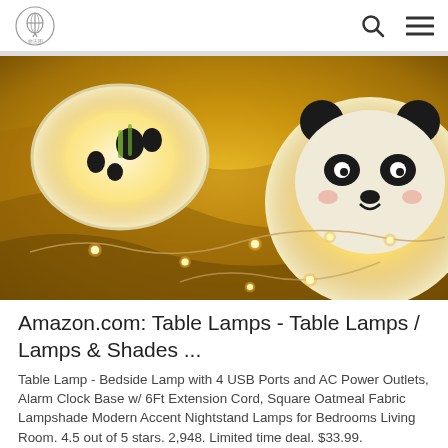logo and navigation icons (search, menu)
[Figure (photo): Two glowing panda-themed lamps with warm yellow light, surrounded by string lights with small warm bulbs on a beige fabric background.]
Amazon.com: Table Lamps - Table Lamps / Lamps & Shades ...
Table Lamp - Bedside Lamp with 4 USB Ports and AC Power Outlets, Alarm Clock Base w/ 6Ft Extension Cord, Square Oatmeal Fabric Lampshade Modern Accent Nightstand Lamps for Bedrooms Living Room. 4.5 out of 5 stars. 2,948. Limited time deal. $33.99.